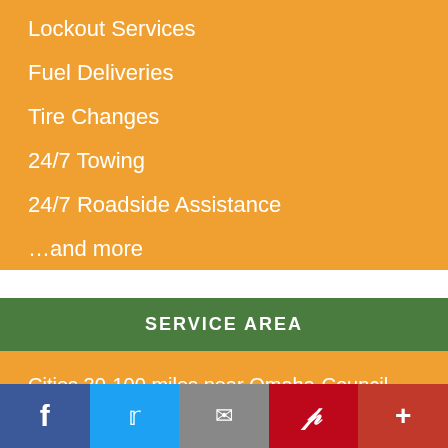Lockout Services
Fuel Deliveries
Tire Changes
24/7 Towing
24/7 Roadside Assistance
…and more
SERVICE AREA
Cities 30-100 miles near Omaha-Council Bluffs Metropolitan Area: Downtown Omaha, Central Omaha, Southwest Omaha and Sarpy County, including the communities of…